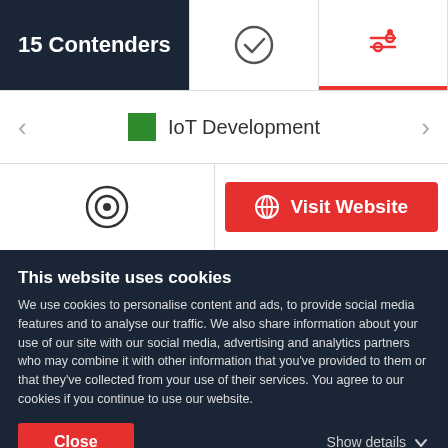15 Contenders
IoT Development
Visit Website
DBZeus
This website uses cookies
We use cookies to personalise content and ads, to provide social media features and to analyse our traffic. We also share information about your use of our site with our social media, advertising and analytics partners who may combine it with other information that you've provided to them or that they've collected from your use of their services. You agree to our cookies if you continue to use our website.
Close
Show details